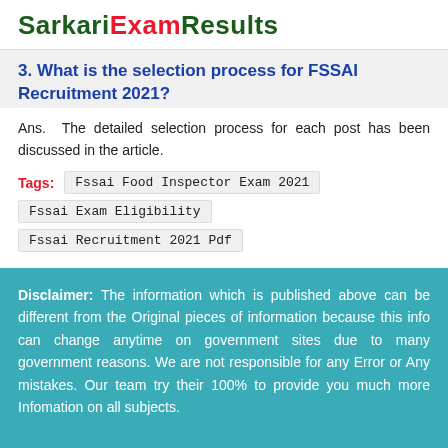SarkariExamResults
3. What is the selection process for FSSAI Recruitment 2021?
Ans. The detailed selection process for each post has been discussed in the article.
Tags: Fssai Food Inspector Exam 2021   Fssai Exam Eligibility   Fssai Recruitment 2021 Pdf
Disclaimer: The information which is published above can be different from the Original pieces of information because this info can change anytime on government sites due to many government reasons. We are not responsible for any Error or Any mistakes. Our team try their 100% to provide you much more Infomation on all subjects.